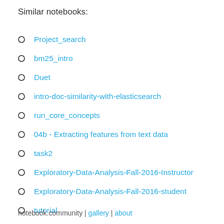Similar notebooks:
Project_search
bm25_intro
Duet
intro-doc-similarity-with-elasticsearch
run_core_concepts
04b - Extracting features from text data
task2
Exploratory-Data-Analysis-Fall-2016-Instructor
Exploratory-Data-Analysis-Fall-2016-student
tutorial
notebook.community | gallery | about